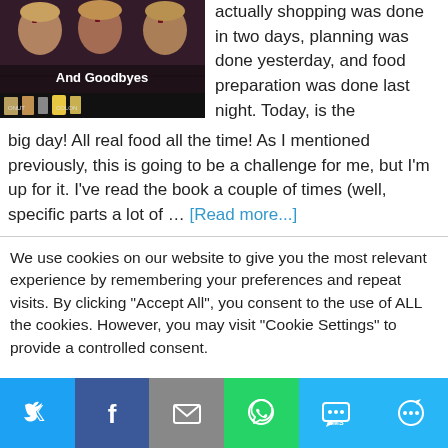[Figure (photo): Photo of people holding drinks with text overlay 'And Goodbyes' and food items at bottom]
actually shopping was done in two days, planning was done yesterday, and food preparation was done last night. Today, is the big day! All real food all the time! As I mentioned previously, this is going to be a challenge for me, but I'm up for it. I've read the book a couple of times (well, specific parts a lot of ... [Read more...]
We use cookies on our website to give you the most relevant experience by remembering your preferences and repeat visits. By clicking "Accept All", you consent to the use of ALL the cookies. However, you may visit "Cookie Settings" to provide a controlled consent.
[Figure (infographic): Social media share bar with Twitter, Facebook, Email, WhatsApp, SMS, and More buttons]